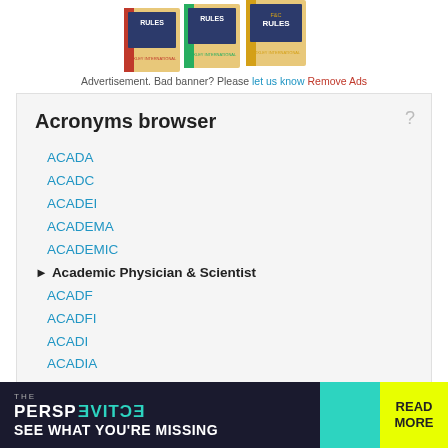[Figure (photo): Three book covers with 'RULES' text and Foxley International branding, displayed as a product advertisement]
Advertisement. Bad banner? Please let us know Remove Ads
Acronyms browser
ACADA
ACADC
ACADEI
ACADEMA
ACADEMIC
Academic Physician & Scientist
ACADF
ACADFI
ACADI
ACADIA
ACADIS
ACADL
[Figure (illustration): Advertisement banner: THE PERSPECTIVE - SEE WHAT YOU'RE MISSING - READ MORE]